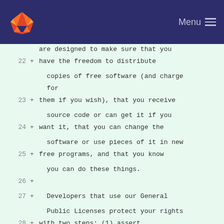GitLab logo | Menu
are designed to make sure that you
22 + have the freedom to distribute
    copies of free software (and charge
    for
23 + them if you wish), that you receive
    source code or can get it if you
24 + want it, that you can change the
    software or use pieces of it in new
25 + free programs, and that you know
    you can do these things.
26 +
27 +   Developers that use our General
    Public Licenses protect your rights
28 + with two steps: (1) assert
    copyright on the software, and (2)
    offer
29 + you this License which gives you
    legal permission to copy, distribute
30 + and/or modify the software.
31 +